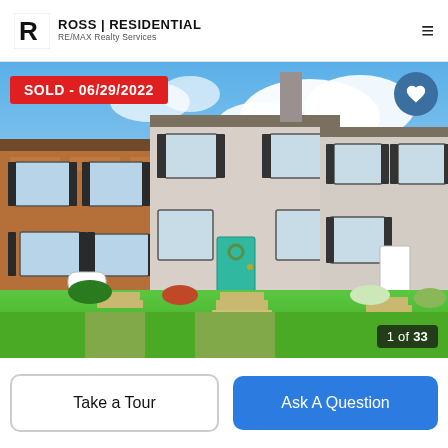Ross Residential RE/MAX Realty Services
[Figure (photo): Exterior photo of a row of townhouses with a teal front door, bright green lawn, and blue sky with white clouds. A red 'SOLD - 06/29/2022' badge appears in the top-left corner. A heart button is in the top-right corner. '1 of 33' counter in the bottom-right.]
Take a Tour
Ask A Question